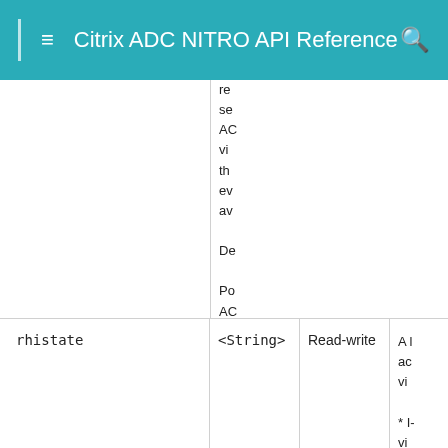Citrix ADC NITRO API Reference
| Parameter | Type | Permissions | Description |
| --- | --- | --- | --- |
|  |  |  | re se AC vi th ev av De Po AC |
| rhistate | <String> | Read-write | A l ac vi * I- vi |